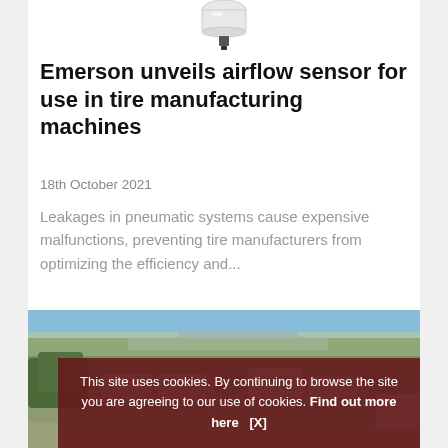[Figure (photo): Airflow sensor product photo — white cylindrical sensor with black mounting base, shown on white background]
Emerson unveils airflow sensor for use in tire manufacturing machines
18th October 2021
Leakages in pneumatic systems cause expensive malfunctions, preventing tire manufacturers from optimizing the efficiency and...
[Figure (photo): Aerial photograph of a large industrial facility with multiple warehouse buildings surrounded by green fields and trees, with a city visible in the background]
This site uses cookies. By continuing to browse the site you are agreeing to our use of cookies. Find out more here   [X]